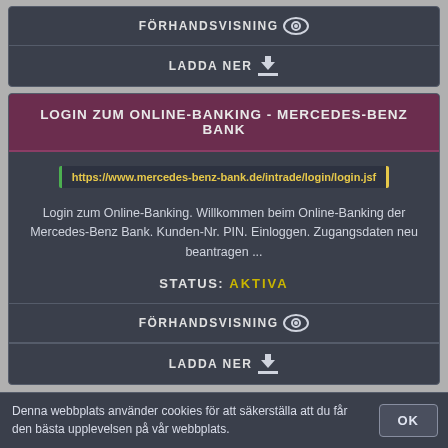FÖRHANDSVISNING
LADDA NER
LOGIN ZUM ONLINE-BANKING - MERCEDES-BENZ BANK
https://www.mercedes-benz-bank.de/intrade/login/login.jsf
Login zum Online-Banking. Willkommen beim Online-Banking der Mercedes-Benz Bank. Kunden-Nr. PIN. Einloggen. Zugangsdaten neu beantragen ...
STATUS: AKTIVA
FÖRHANDSVISNING
LADDA NER
Denna webbplats använder cookies för att säkerställa att du får den bästa upplevelsen på vår webbplats.